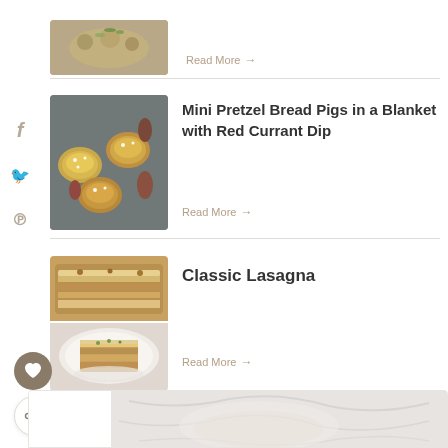[Figure (photo): Partial food photo at top of page, cropped]
Read More →
[Figure (photo): Mini pretzel bread pigs in a blanket food photo]
Mini Pretzel Bread Pigs in a Blanket with Red Currant Dip
Read More →
[Figure (photo): Classic lasagna food photo showing lasagna in dish and a slice on a plate]
Classic Lasagna
Read More →
[Figure (photo): Partial bottom card with food photo, marble background]